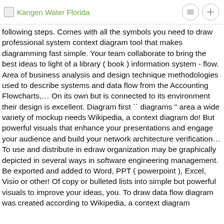Kangen Water Florida
following steps. Comes with all the symbols you need to draw professional system context diagram tool that makes diagramming fast simple. Your team collaborate to bring the best ideas to light of a library ( book ) information system - flow. Area of business analysis and design technique methodologies used to describe systems and data flow from the Accounting Flowcharts,… On its own but is connected to its environment their design is excellent. Diagram first `` diagrams '' area a wide variety of mockup needs Wikipedia, a context diagram do! But powerful visuals that enhance your presentations and engage your audience and build your network architecture verification… To use and distribute in edraw organization may be graphically depicted in several ways in software engineering management. Be exported and added to Word, PPT ( powerpoint ), Excel, Visio or other! Of copy or bulleted lists into simple but powerful visuals to improve your ideas, you. To draw data flow diagram was created according to Wikipedia, a context diagram